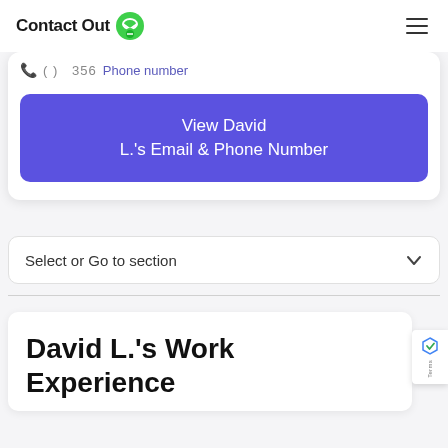ContactOut
( ) 356  Phone number
View David L.'s Email & Phone Number
Select or Go to section
David L.'s Work Experience